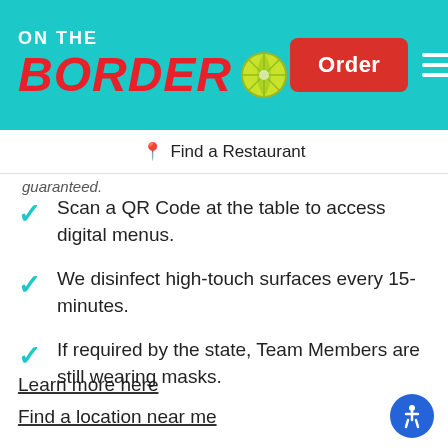[Figure (logo): On The Border restaurant logo with teal background, red italic BORDER text, white ON THE text, lime/lemon icon, red Order button, and white hamburger menu icon]
📍 Find a Restaurant
guaranteed.
Scan a QR Code at the table to access digital menus.
We disinfect high-touch surfaces every 15-minutes.
If required by the state, Team Members are still wearing masks.
Learn more here
Find a location near me